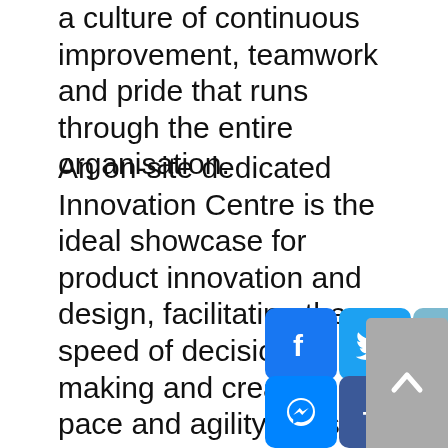a culture of continuous improvement, teamwork and pride that runs through the entire organisation.
An on-site dedicated Innovation Centre is the ideal showcase for product innovation and design, facilitating the speed of decision making and creating pace and agility the sets The Park apart from its competitors. The Product Development Team is able to draw on the expertise of the entire supply network, through the well-established and constantly evolving Supplier Development Program. Building strategic relationships with key suppliers ensures that innovation has maximum advantage through collaboration; pooling resources, connecting technical teams and making decisions that take a holistic view of er maximum value for the customer. This is also supported by the annual